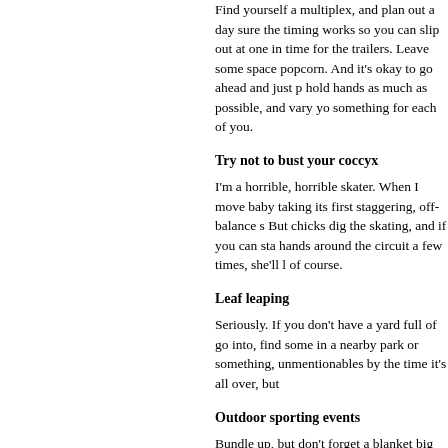Find yourself a multiplex, and plan out a day sure the timing works so you can slip out at one in time for the trailers. Leave some space popcorn. And it's okay to go ahead and just p hold hands as much as possible, and vary yo something for each of you.
Try not to bust your coccyx
I'm a horrible, horrible skater. When I move baby taking its first staggering, off-balance s But chicks dig the skating, and if you can sta hands around the circuit a few times, she'll l of course.
Leaf leaping
Seriously. If you don't have a yard full of go into, find some in a nearby park or something, unmentionables by the time it's all over, but
Outdoor sporting events
Bundle up, but don't forget a blanket big enc press your cheeks together, and bring along b alcoholic beverages, all the better. Warm up a
Snow and silence